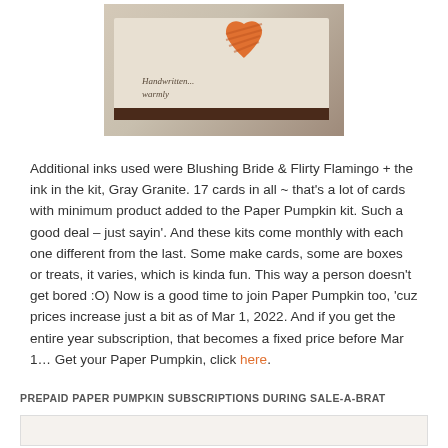[Figure (photo): Photo of a handmade greeting card with an orange striped heart on a cream background, with script text on the card, placed on a dark surface.]
Additional inks used were Blushing Bride & Flirty Flamingo + the ink in the kit, Gray Granite. 17 cards in all ~ that's a lot of cards with minimum product added to the Paper Pumpkin kit. Such a good deal – just sayin'. And these kits come monthly with each one different from the last. Some make cards, some are boxes or treats, it varies, which is kinda fun. This way a person doesn't get bored :O) Now is a good time to join Paper Pumpkin too, 'cuz prices increase just a bit as of Mar 1, 2022. And if you get the entire year subscription, that becomes a fixed price before Mar 1… Get your Paper Pumpkin, click here.
PREPAID PAPER PUMPKIN SUBSCRIPTIONS DURING SALE-A-BRAT
[Figure (photo): Partial view of another image or card at the bottom of the page.]